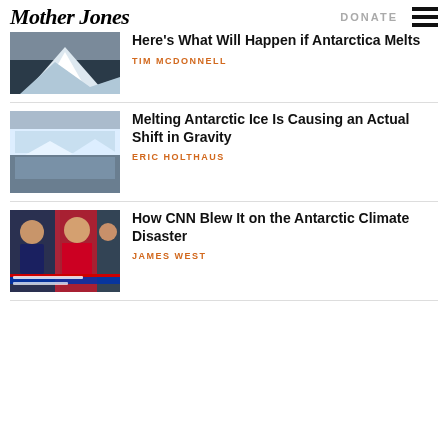Mother Jones | DONATE
[Figure (photo): Iceberg in dark water with dramatic sky - partially cropped at top]
Here's What Will Happen if Antarctica Melts
TIM MCDONNELL
[Figure (photo): Antarctic ice shelf reflected in water]
Melting Antarctic Ice Is Causing an Actual Shift in Gravity
ERIC HOLTHAUS
[Figure (photo): CNN news broadcast composite with multiple TV personalities]
How CNN Blew It on the Antarctic Climate Disaster
JAMES WEST